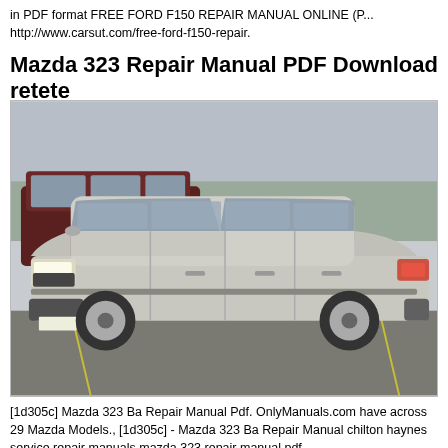in PDF format FREE FORD F150 REPAIR MANUAL ONLINE (P... http://www.carsut.com/free-ford-f150-repair.
Mazda 323 Repair Manual PDF Download retete
[Figure (photo): Photograph of a silver/light gray Mazda 323 sedan in a parking lot, with a dark red SUV parked behind it.]
[1d305c] Mazda 323 Ba Repair Manual Pdf. OnlyManuals.com have across 29 Mazda Models., [1d305c] - Mazda 323 Ba Repair Manual chilton haynes service repair manuals mazda 323 repair manual pdf ...